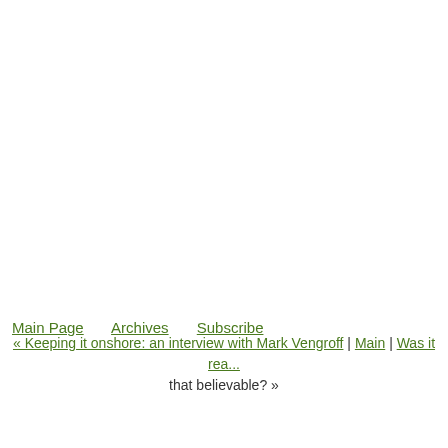Main Page   Archives   Subscribe
« Keeping it onshore: an interview with Mark Vengroff | Main | Was it rea... that believable? »